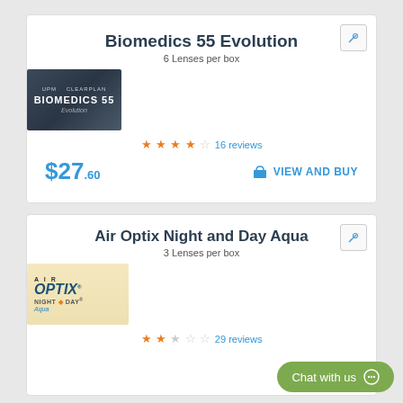Biomedics 55 Evolution
6 Lenses per box
[Figure (photo): Biomedics 55 Evolution contact lens box product image with dark background]
★★★★☆ 16 reviews
$27.60
VIEW AND BUY
Air Optix Night and Day Aqua
3 Lenses per box
[Figure (photo): Air Optix Night and Day Aqua contact lens box product image with light background]
★★☆☆☆ 29 reviews
Chat with us